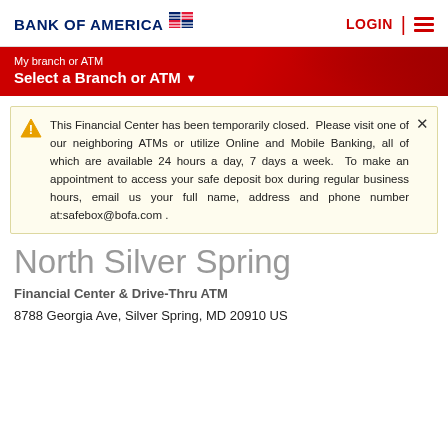BANK OF AMERICA | LOGIN
My branch or ATM
Select a Branch or ATM
This Financial Center has been temporarily closed. Please visit one of our neighboring ATMs or utilize Online and Mobile Banking, all of which are available 24 hours a day, 7 days a week.  To make an appointment to access your safe deposit box during regular business hours, email us your full name, address and phone number at:safebox@bofa.com .
North Silver Spring
Financial Center & Drive-Thru ATM
8788 Georgia Ave, Silver Spring, MD 20910 US